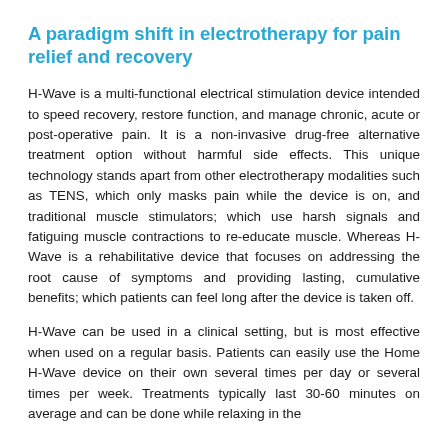A paradigm shift in electrotherapy for pain relief and recovery
H-Wave is a multi-functional electrical stimulation device intended to speed recovery, restore function, and manage chronic, acute or post-operative pain. It is a non-invasive drug-free alternative treatment option without harmful side effects. This unique technology stands apart from other electrotherapy modalities such as TENS, which only masks pain while the device is on, and traditional muscle stimulators; which use harsh signals and fatiguing muscle contractions to re-educate muscle. Whereas H-Wave is a rehabilitative device that focuses on addressing the root cause of symptoms and providing lasting, cumulative benefits; which patients can feel long after the device is taken off.
H-Wave can be used in a clinical setting, but is most effective when used on a regular basis. Patients can easily use the Home H-Wave device on their own several times per day or several times per week. Treatments typically last 30-60 minutes on average and can be done while relaxing in the